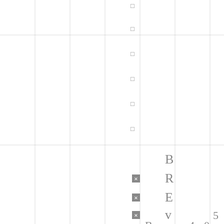[Figure (other): Grid/table layout with characters and box icons arranged in a sparse grid pattern. Top half shows small bracket/square characters in a vertical column near center. Bottom half shows box icons with × marks and letters spelling 'BREv.' and 'B R □ D' with numbers 6, 1, –, 4, 0, 5 at the bottom row.]